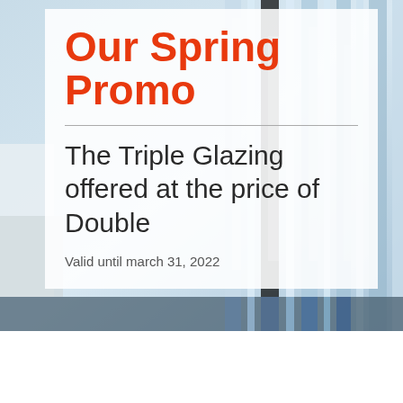[Figure (photo): Background photo of window glazing frames in light blue tones, with a white vehicle partially visible on the left side]
Our Spring Promo
The Triple Glazing offered at the price of Double
Valid until march 31, 2022